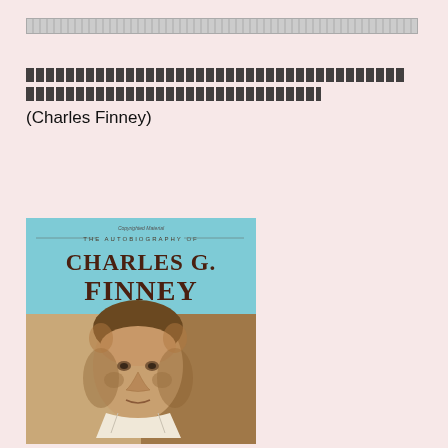[decorative block pattern header]
[text in non-Latin script / encoded characters] (Charles Finney)
[Figure (photo): Book cover of 'The Autobiography of Charles G. Finney' with teal/blue top half showing the title in brown serif font, and bottom half showing a sepia portrait photograph of Charles Finney, a man with receding hair and gaunt features.]